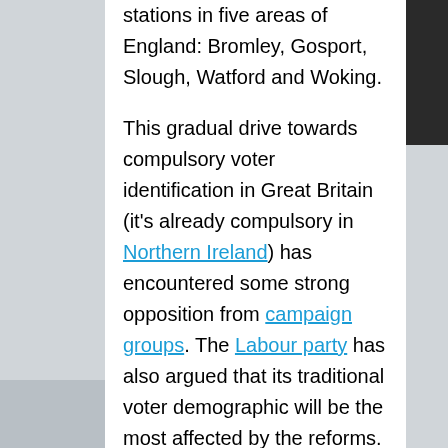stations in five areas of England: Bromley, Gosport, Slough, Watford and Woking.
This gradual drive towards compulsory voter identification in Great Britain (it's already compulsory in Northern Ireland) has encountered some strong opposition from campaign groups. The Labour party has also argued that its traditional voter demographic will be the most affected by the reforms.
The debate around compulsory ID has been most intense in places where disenfranchisement has been a widespread problem in the past – most notably the US. There has been a distinct lack of scrutiny in